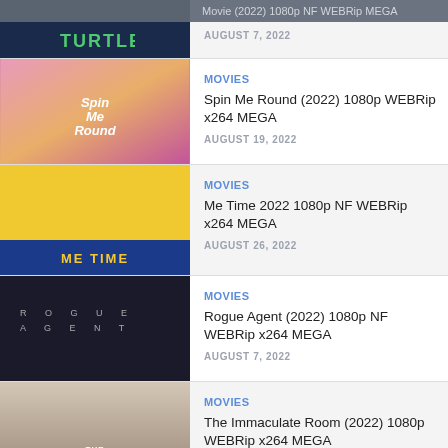Movie (2022) 1080p NF WEBRip MEGA
MOVIES
Spin Me Round (2022) 1080p WEBRip x264 MEGA
AUGUST 19, 2022
MOVIES
Me Time 2022 1080p NF WEBRip x264 MEGA
AUGUST 26, 2022
MOVIES
Rogue Agent (2022) 1080p NF WEBRip x264 MEGA
AUGUST 7, 2022
MOVIES
The Immaculate Room (2022) 1080p WEBRip x264 MEGA
AUGUST 19, 2022